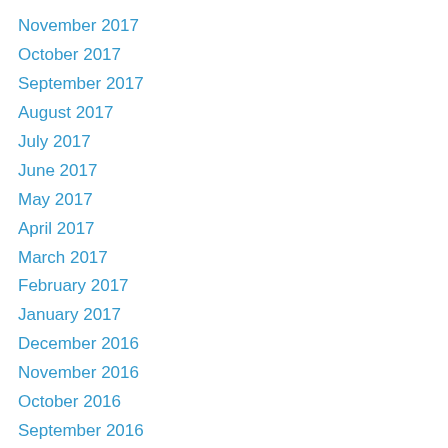November 2017
October 2017
September 2017
August 2017
July 2017
June 2017
May 2017
April 2017
March 2017
February 2017
January 2017
December 2016
November 2016
October 2016
September 2016
August 2016
July 2016
June 2016
May 2016
April 2016